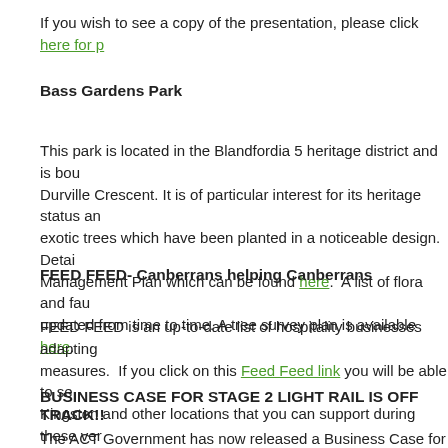If you wish to see a copy of the presentation, please click here for p
Bass Gardens Park
This park is located in the Blandfordia 5 heritage district and is bou... Durville Crescent. It is of particular interest for its heritage status an... exotic trees which have been planted in a noticeable design. Detai... Management Plan which can be found here. A list of flora and fau... updated from time to time. A tree survey plan is available here.
FEED FEED- Canberrans helping Canberrans
FEED FEED is an up-to-date list of hospitality businesses adapting... measures. If you click on this Feed Feed link you will be able to se... Kingston and other locations that you can support during these ver...
BUSINESS CASE FOR STAGE 2 LIGHT RAIL IS OFF TRACK!!
The ACT Government has now released a Business Case for Stage